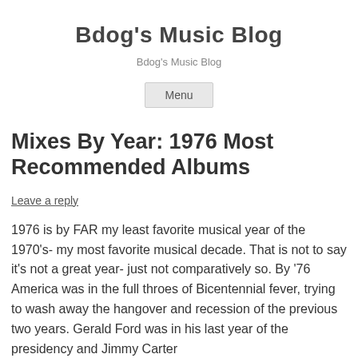Bdog's Music Blog
Bdog's Music Blog
Menu
Mixes By Year: 1976 Most Recommended Albums
Leave a reply
1976 is by FAR my least favorite musical year of the 1970's- my most favorite musical decade. That is not to say it's not a great year- just not comparatively so. By '76 America was in the full throes of Bicentennial fever, trying to wash away the hangover and recession of the previous two years. Gerald Ford was in his last year of the presidency and Jimmy Carter